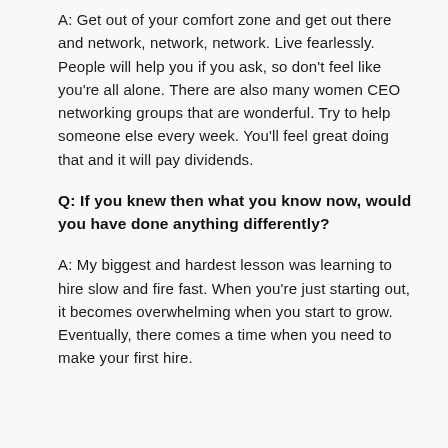A: Get out of your comfort zone and get out there and network, network, network. Live fearlessly. People will help you if you ask, so don't feel like you're all alone. There are also many women CEO networking groups that are wonderful. Try to help someone else every week. You'll feel great doing that and it will pay dividends.
Q: If you knew then what you know now, would you have done anything differently?
A: My biggest and hardest lesson was learning to hire slow and fire fast. When you're just starting out, it becomes overwhelming when you start to grow. Eventually, there comes a time when you need to make your first hire.